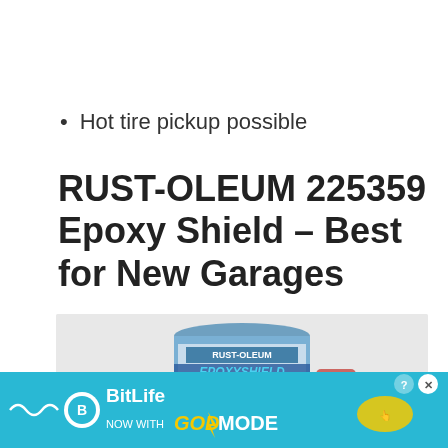Hot tire pickup possible
RUST-OLEUM 225359 Epoxy Shield – Best for New Garages
[Figure (photo): Product photo of Rust-Oleum EpoxyShield Concrete Floor Paint can]
[Figure (screenshot): BitLife advertisement banner: 'NOW WITH GOD MODE']